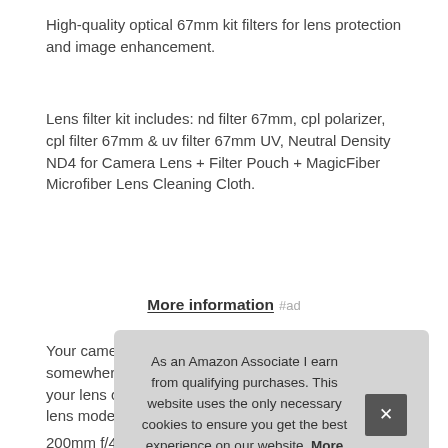High-quality optical 67mm kit filters for lens protection and image enhancement.
Lens filter kit includes: nd filter 67mm, cpl polarizer, cpl filter 67mm & uv filter 67mm UV, Neutral Density ND4 for Camera Lens + Filter Pouch + MagicFiber Microfiber Lens Cleaning Cloth.
More information #ad
Your camera's lens thread size will be marked somewhere on the lens barrel or printed underneath your lens cap. Lens compatibilities: popular 67mm lens models canon ef-s 18-135...
As an Amazon Associate I earn from qualifying purchases. This website uses the only necessary cookies to ensure you get the best experience on our website. More information
200mm f/4g od vr, sony 28 75mm f/2, 8 cam, nikon af-s dx...